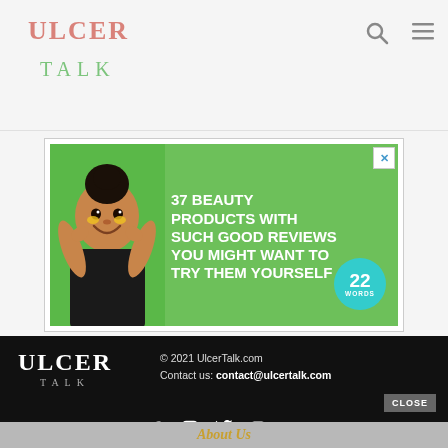ULCER TALK
[Figure (screenshot): Advertisement banner: green background with woman holding face, text '37 BEAUTY PRODUCTS WITH SUCH GOOD REVIEWS YOU MIGHT WANT TO TRY THEM YOURSELF' and a teal badge with '22 WORDS']
© 2021 UlcerTalk.com
Contact us: contact@ulcertalk.com
[Figure (logo): ULCER TALK logo in white on black footer]
[Figure (infographic): Social media icons: Facebook, Instagram, Twitter, VK, YouTube]
CLOSE
About Us